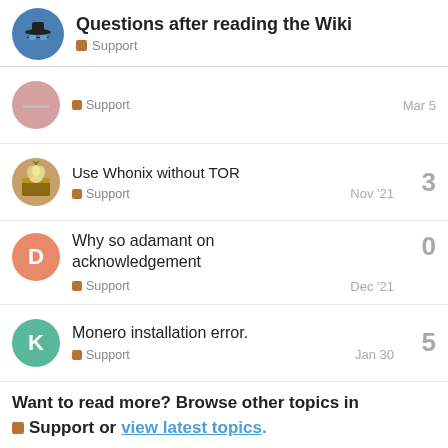Questions after reading the Wiki — Support
Support — Mar 5
Use Whonix without TOR — Support — Nov '21 — 3
Why so adamant on acknowledgement — Support — Dec '21 — 0
Monero installation error. — Support — Jan 30 — 5
Want to read more? Browse other topics in Support or view latest topics.
[Imprint] [Privacy Policy] [Cookie Policy] [Terms of Use] [E-Sign Consent] [DMCA] [Contributors] [Investors] [Priority Support] [Professional Support]